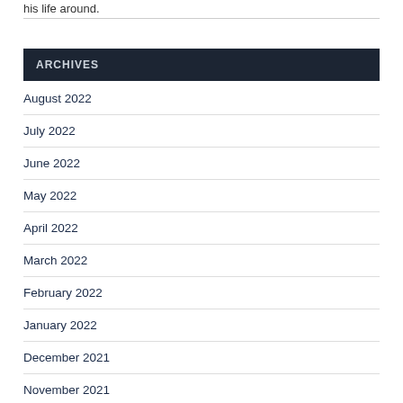his life around.
ARCHIVES
August 2022
July 2022
June 2022
May 2022
April 2022
March 2022
February 2022
January 2022
December 2021
November 2021